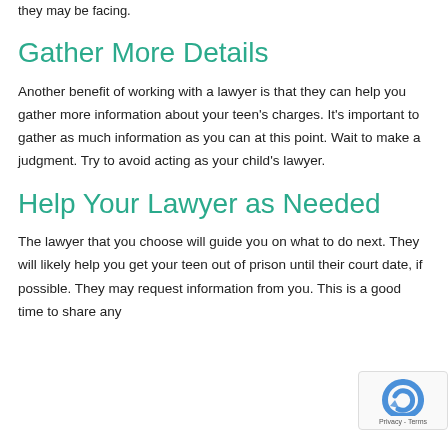they may be facing.
Gather More Details
Another benefit of working with a lawyer is that they can help you gather more information about your teen's charges. It's important to gather as much information as you can at this point. Wait to make a judgment. Try to avoid acting as your child's lawyer.
Help Your Lawyer as Needed
The lawyer that you choose will guide you on what to do next. They will likely help you get your teen out of prison until their court date, if possible. They may request information from you. This is a good time to share any information you have about the situation.